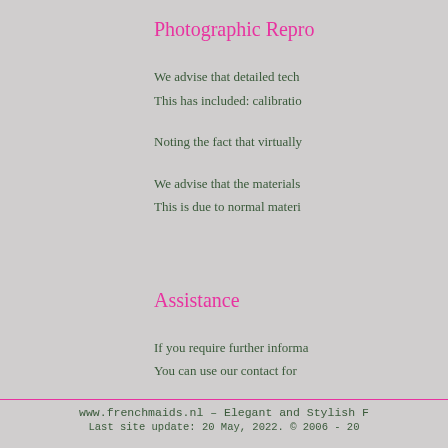Photographic Repro...
We advise that detailed tech...
This has included: calibratio...
Noting the fact that virtually...
We advise that the materials...
This is due to normal materi...
Assistance
If you require further informa...
You can use our contact for...
www.frenchmaids.nl – Elegant and Stylish F... | Last site update: 20 May, 2022. © 2006 - 20...